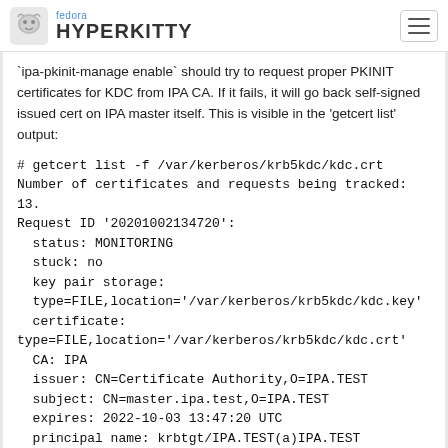fedora HYPERKITTY
`ipa-pkinit-manage enable` should try to request proper PKINIT certificates for KDC from IPA CA. If it fails, it will go back self-signed issued cert on IPA master itself. This is visible in the 'getcert list' output:
# getcert list -f /var/kerberos/krb5kdc/kdc.crt
Number of certificates and requests being tracked: 13.
Request ID '20201002134720':
status: MONITORING
stuck: no
key pair storage:
type=FILE,location='/var/kerberos/krb5kdc/kdc.key'
certificate: type=FILE,location='/var/kerberos/krb5kdc/kdc.crt'
CA: IPA
issuer: CN=Certificate Authority,O=IPA.TEST
subject: CN=master.ipa.test,O=IPA.TEST
expires: 2022-10-03 13:47:20 UTC
principal name: krbtgt/IPA.TEST(a)IPA.TEST
key usage:
digitalSignature,nonRepudiation,keyEncipherment,dataEnciphe